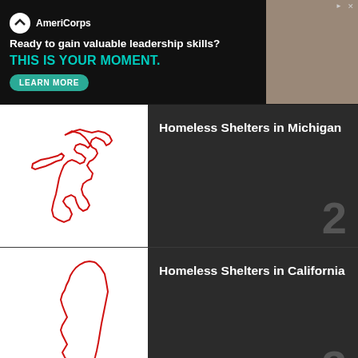[Figure (screenshot): AmeriCorps advertisement banner: 'Ready to gain valuable leadership skills? THIS IS YOUR MOMENT.' with LEARN MORE button and photo of people]
Homeless Shelters in Michigan
[Figure (illustration): Outline map of Michigan state in red on white background]
Homeless Shelters in California
[Figure (illustration): Outline map of California state in red on white background]
TOP STATES
New York (1192)
California (880)
Michigan (615)
Florida (607)
Ohio (553)
Massachusetts (527)